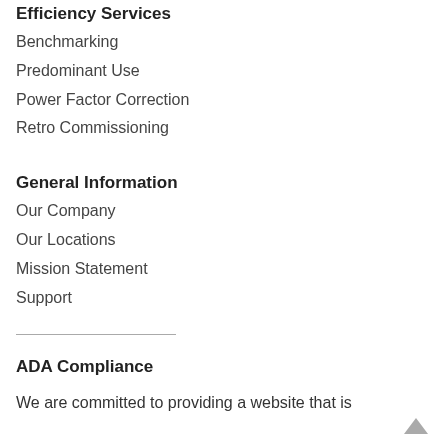Efficiency Services
Benchmarking
Predominant Use
Power Factor Correction
Retro Commissioning
General Information
Our Company
Our Locations
Mission Statement
Support
ADA Compliance
We are committed to providing a website that is